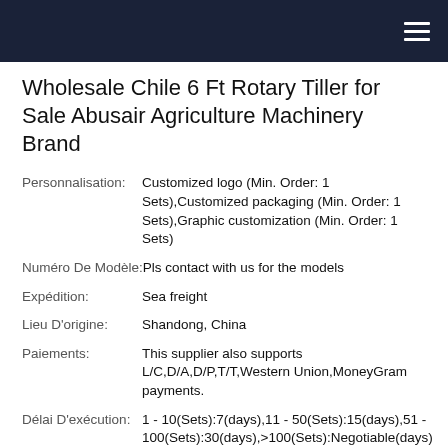Wholesale Chile 6 Ft Rotary Tiller for Sale Abusair Agriculture Machinery Brand
Personnalisation: Customized logo (Min. Order: 1 Sets),Customized packaging (Min. Order: 1 Sets),Graphic customization (Min. Order: 1 Sets)
Numéro De Modèle: Pls contact with us for the models
Expédition: Sea freight
Lieu D'origine: Shandong, China
Paiements: This supplier also supports L/C,D/A,D/P,T/T,Western Union,MoneyGram payments.
Délai D'exécution: 1 - 10(Sets):7(days),11 - 50(Sets):15(days),51 - 100(Sets):30(days),>100(Sets):Negotiable(days)
MOQ: 1000